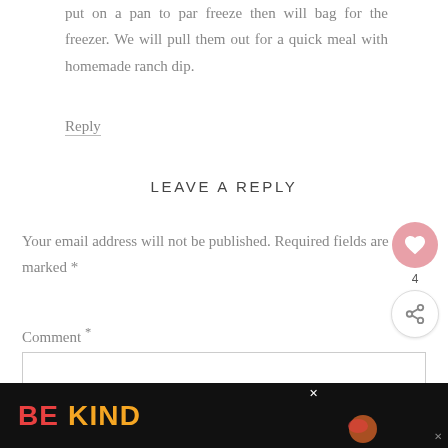put on a pan to par freeze then will bag for the freezer. We will pull them out for a quick meal with homemade ranch dip.
Reply
LEAVE A REPLY
Your email address will not be published. Required fields are marked *
Comment *
[Figure (screenshot): Empty comment text area input box]
[Figure (infographic): BE KIND advertisement banner at the bottom of the page with colorful text on dark background]